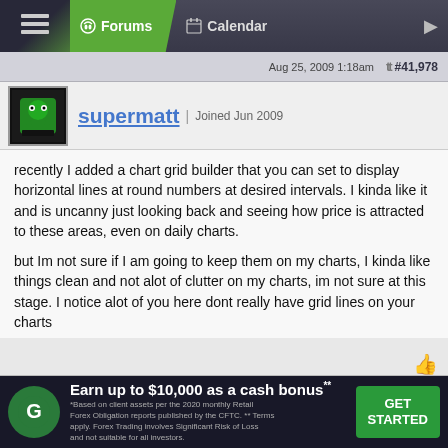Forums | Calendar
Aug 25, 2009 1:18am   #41,978
supermatt | Joined Jun 2009
recently I added a chart grid builder that you can set to display horizontal lines at round numbers at desired intervals. I kinda like it and is uncanny just looking back and seeing how price is attracted to these areas, even on daily charts.

but Im not sure if I am going to keep them on my charts, I kinda like things clean and not alot of clutter on my charts, im not sure at this stage. I notice alot of you here dont really have grid lines on your charts
Aug 25, 2009 3:41am   #41,979
ghous
1  ←  Page 2099  →  7173
Earn up to $10,000 as a cash bonus** *Based on client assets per the 2020 monthly Retail Forex Obligation reports published by the CFTC. ** Terms apply. Forex Trading involves Significant Risk of Loss and not suitable for all investors. GET STARTED